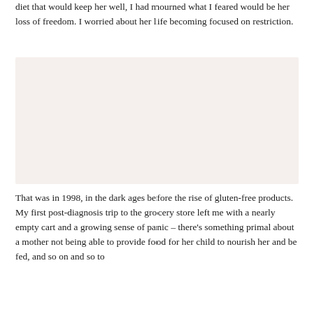diet that would keep her well, I had mourned what I feared would be her loss of freedom. I worried about her life becoming focused on restriction.
[Figure (photo): A light pinkish-beige blank image placeholder occupying the middle section of the page.]
That was in 1998, in the dark ages before the rise of gluten-free products. My first post-diagnosis trip to the grocery store left me with a nearly empty cart and a growing sense of panic – there's something primal about a mother not being able to provide food for her child to nourish her and be fed, and so on and so to